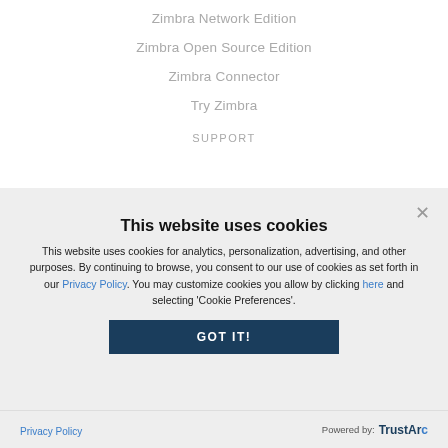Zimbra Network Edition
Zimbra Open Source Edition
Zimbra Connector
Try Zimbra
SUPPORT
This website uses cookies
This website uses cookies for analytics, personalization, advertising, and other purposes. By continuing to browse, you consent to our use of cookies as set forth in our Privacy Policy. You may customize cookies you allow by clicking here and selecting 'Cookie Preferences'.
GOT IT!
Privacy Policy
Powered by: TrustArc